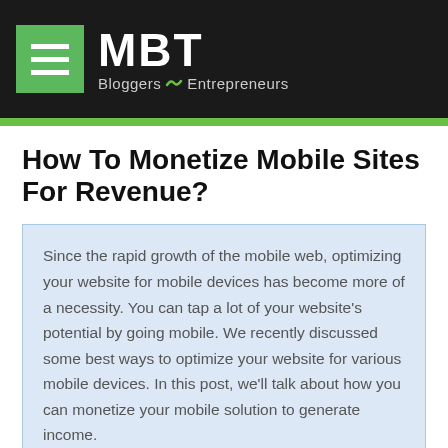MBT Bloggers Entrepreneurs
How To Monetize Mobile Sites For Revenue?
Since the rapid growth of the mobile web, optimizing your website for mobile devices has become more of a necessity. You can tap a lot of your website's potential by going mobile. We recently discussed some best ways to optimize your website for various mobile devices. In this post, we'll talk about how you can monetize your mobile solution to generate income.